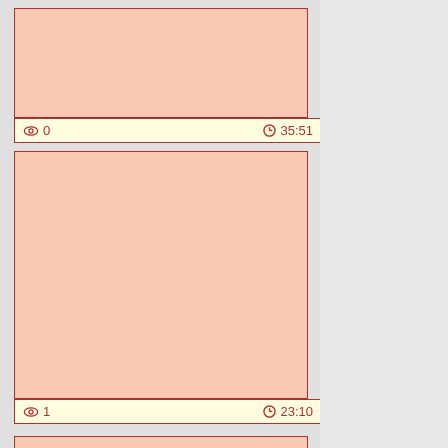[Figure (screenshot): Video thumbnail placeholder - salmon/peach colored rectangle with dark red border]
👁 0    🕐 35:51
[Figure (screenshot): Video thumbnail placeholder - salmon/peach colored rectangle with dark red border]
👁 1    🕐 23:10
[Figure (screenshot): Video thumbnail placeholder - salmon/peach colored rectangle with dark red border, partially visible]